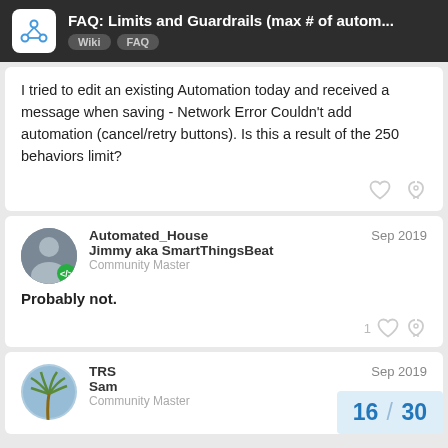FAQ: Limits and Guardrails (max # of autom... Wiki FAQ
I tried to edit an existing Automation today and received a message when saving - Network Error Couldn't add automation (cancel/retry buttons). Is this a result of the 250 behaviors limit?
Automated_House
Jimmy aka SmartThingsBeat
Community Master
Sep 2019
Probably not.
TRS
Sam
Community Master
Sep 2019
16 / 30